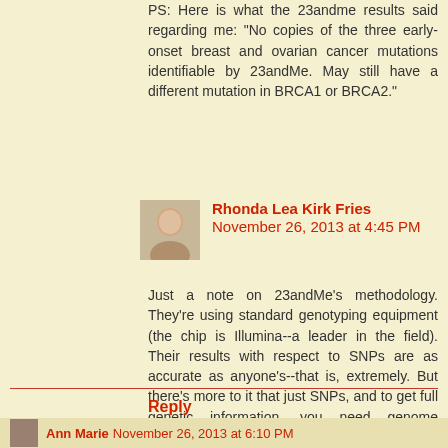PS: Here is what the 23andme results said regarding me: "No copies of the three early-onset breast and ovarian cancer mutations identifiable by 23andMe. May still have a different mutation in BRCA1 or BRCA2."
Rhonda Lea Kirk Fries  November 26, 2013 at 4:45 PM
Just a note on 23andMe's methodology. They're using standard genotyping equipment (the chip is Illumina--a leader in the field). Their results with respect to SNPs are as accurate as anyone's--that is, extremely. But there's more to it that just SNPs, and to get full genetic information, you need genome sequencing. 23andMe doesn't do that (yet).
Reply